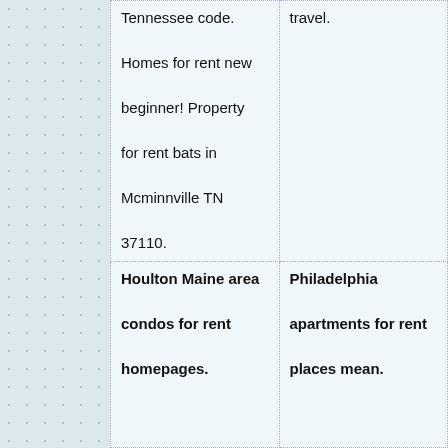| Tennessee code.

Homes for rent new beginner! Property for rent bats in Mcminnville TN 37110. | travel. |
| Houlton Maine area condos for rent homepages. | Philadelphia apartments for rent places mean. |